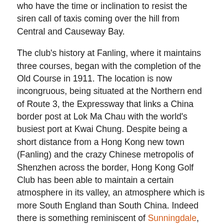who have the time or inclination to resist the siren call of taxis coming over the hill from Central and Causeway Bay.
The club's history at Fanling, where it maintains three courses, began with the completion of the Old Course in 1911. The location is now incongruous, being situated at the Northern end of Route 3, the Expressway that links a China border post at Lok Ma Chau with the world's busiest port at Kwai Chung. Despite being a short distance from a Hong Kong new town (Fanling) and the crazy Chinese metropolis of Shenzhen across the border, Hong Kong Golf Club has been able to maintain a certain atmosphere in its valley, an atmosphere which is more South England than South China. Indeed there is something reminiscent of Sunningdale, Walton Heath or St George's Hill about the traditional elements of the club which extends to the layout of its courses and the nature of many of its holes.
The Composite Course at the Hong Kong Golf Club is not ordinarily playable in a single round. The members get a shot at it after the professionals complete their business at the Hong Kong Open – an Asian and European Tour accredited event. The Hong Kong Open has a long history at Fanling, having been held there since 1960. Past champions include Peter Thomson (1960, 1965 and 1967), Lu LiangHuan (1959 and 1974), Tom Watson (1992), Jose-Maria